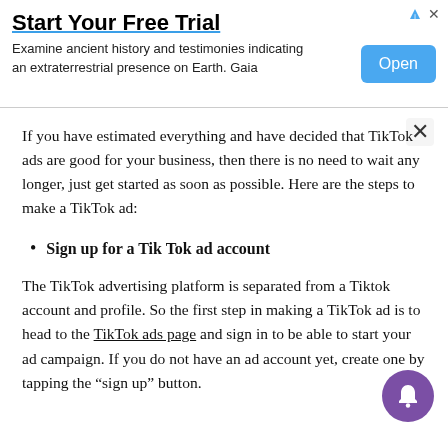[Figure (screenshot): Advertisement banner at top with 'Start Your Free Trial' title, subtitle text, and blue Open button]
If you have estimated everything and have decided that TikTok ads are good for your business, then there is no need to wait any longer, just get started as soon as possible. Here are the steps to make a TikTok ad:
Sign up for a Tik Tok ad account
The TikTok advertising platform is separated from a Tiktok account and profile. So the first step in making a TikTok ad is to head to the TikTok ads page and sign in to be able to start your ad campaign. If you do not have an ad account yet, create one by tapping the “sign up” button.